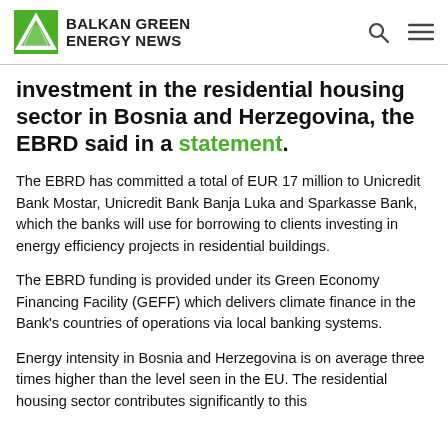BALKAN GREEN ENERGY NEWS
investment in the residential housing sector in Bosnia and Herzegovina, the EBRD said in a statement.
The EBRD has committed a total of EUR 17 million to Unicredit Bank Mostar, Unicredit Bank Banja Luka and Sparkasse Bank, which the banks will use for borrowing to clients investing in energy efficiency projects in residential buildings.
The EBRD funding is provided under its Green Economy Financing Facility (GEFF) which delivers climate finance in the Bank's countries of operations via local banking systems.
Energy intensity in Bosnia and Herzegovina is on average three times higher than the level seen in the EU. The residential housing sector contributes significantly to this